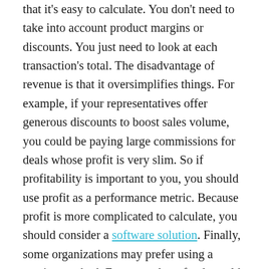that it's easy to calculate. You don't need to take into account product margins or discounts. You just need to look at each transaction's total. The disadvantage of revenue is that it oversimplifies things. For example, if your representatives offer generous discounts to boost sales volume, you could be paying large commissions for deals whose profit is very slim. So if profitability is important to you, you should use profit as a performance metric. Because profit is more complicated to calculate, you should consider a software solution. Finally, some organizations may prefer using a scoring method. For example, refunds could be punished by applying a negative multiplier (ex: -2x revenue), while the sale of certain products could be encouraged by applying a positive multiplier (ex: 1.5x revenue). Make sure the metric you choose is well